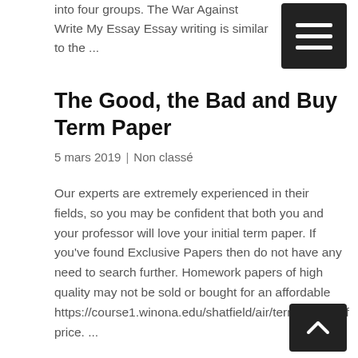into four groups. The War Against Write My Essay Essay writing is similar to the ...
The Good, the Bad and Buy Term Paper
5 mars 2019  |  Non classé
Our experts are extremely experienced in their fields, so you may be confident that both you and your professor will love your initial term paper. If you've found Exclusive Papers then do not have any need to search further. Homework papers of high quality may not be sold or bought for an affordable https://course1.winona.edu/shatfield/air/termpaper.pdf price. ...